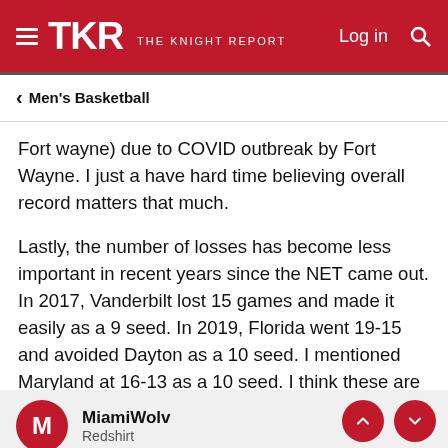TKR THE KNIGHT REPORT — Log in
‹ Men's Basketball
Fort wayne) due to COVID outbreak by Fort Wayne. I just a have hard time believing overall record matters that much.
Lastly, the number of losses has become less important in recent years since the NET came out. In 2017, Vanderbilt lost 15 games and made it easily as a 9 seed. In 2019, Florida went 19-15 and avoided Dayton as a 10 seed. I mentioned Maryland at 16-13 as a 10 seed. I think these are the likely comparisons for this UM team.
MiamiWolv
Redshirt